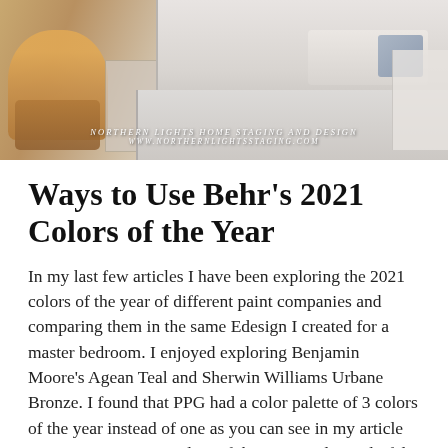[Figure (photo): Bedroom interior photo showing an orange/amber upholstered chair on the left and a white/grey bed on the right, with overlay text reading 'NORTHERN LIGHTS HOME STAGING AND DESIGN' and 'WWW.NORTHERNLIGHTSSTAGING.COM']
Ways to Use Behr's 2021 Colors of the Year
In my last few articles I have been exploring the 2021 colors of the year of different paint companies and comparing them in the same Edesign I created for a master bedroom.  I enjoyed exploring Benjamin Moore's Agean Teal and Sherwin Williams Urbane Bronze.  I found that PPG had a color palette of 3 colors of the year instead of one as you can see in my article Ways to Use PPG's Colors of the Year. I admitted I felt a little let down that they did not just commit to one color